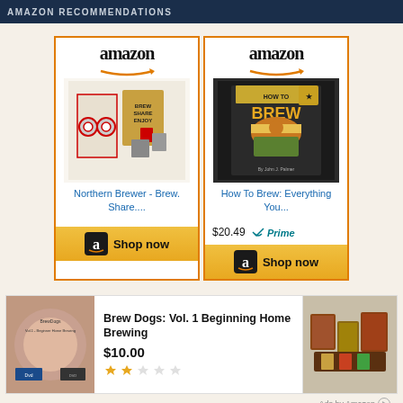AMAZON RECOMMENDATIONS
[Figure (screenshot): Amazon product card for Northern Brewer - Brew. Share.... with Shop now button]
[Figure (screenshot): Amazon product card for How To Brew: Everything You... priced at $20.49 with Prime badge and Shop now button]
[Figure (photo): Brew Dogs Vol 1 Beginning Home Brewing DVD thumbnail]
Brew Dogs: Vol. 1 Beginning Home Brewing
$10.00
2 out of 5 stars rating
[Figure (photo): Home brewing kit product image on right side]
Ads by Amazon